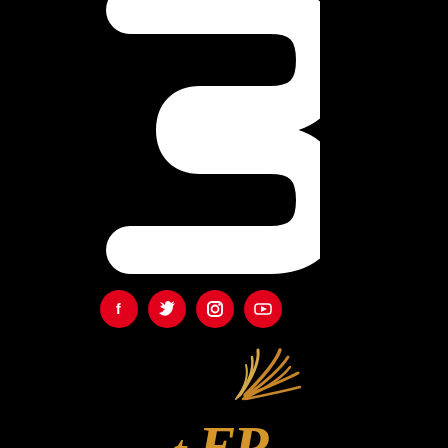[Figure (logo): Large white stylized letter or symbol (resembling a rotated B or stylized bracket shape) on black background, partially cropped at top]
[Figure (logo): Four red circular social media icons: Facebook (f), Twitter (bird/t), Instagram (camera square), YouTube (play button)]
[Figure (logo): tEP academy logo in golden/amber color with decorative feather/flame motif above the letters, with tagline 'BUSINESS AND LIFESTYLE SUSTAINABILITY' below]